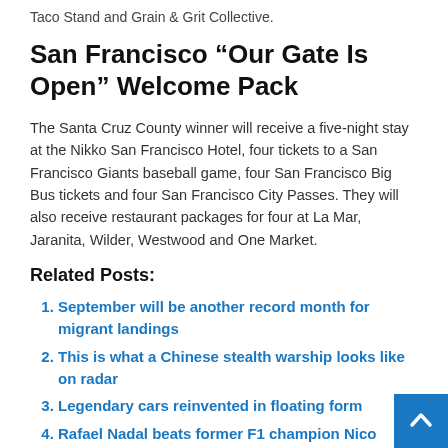Taco Stand and Grain & Grit Collective.
San Francisco “Our Gate Is Open” Welcome Pack
The Santa Cruz County winner will receive a five-night stay at the Nikko San Francisco Hotel, four tickets to a San Francisco Giants baseball game, four San Francisco Big Bus tickets and four San Francisco City Passes. They will also receive restaurant packages for four at La Mar, Jaranita, Wilder, Westwood and One Market.
Related Posts:
September will be another record month for migrant landings
This is what a Chinese stealth warship looks like on radar
Legendary cars reinvented in floating form
Rafael Nadal beats former F1 champion Nico Rosbe